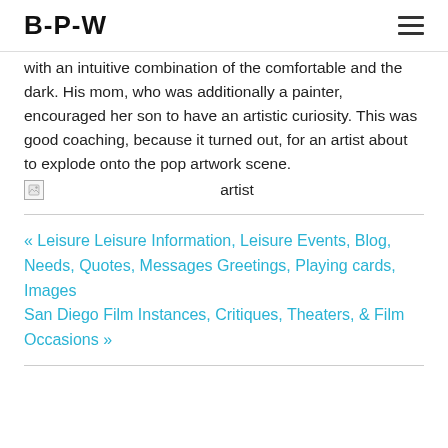B-P-W
with an intuitive combination of the comfortable and the dark. His mom, who was additionally a painter, encouraged her son to have an artistic curiosity. This was good coaching, because it turned out, for an artist about to explode onto the pop artwork scene.
[Figure (photo): Broken image placeholder with alt text 'artist']
« Leisure Leisure Information, Leisure Events, Blog, Needs, Quotes, Messages Greetings, Playing cards, Images
San Diego Film Instances, Critiques, Theaters, & Film Occasions »